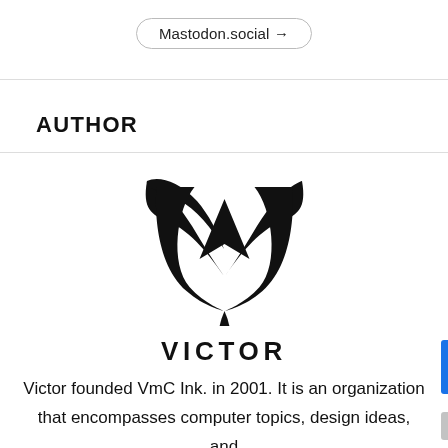Mastodon.social →
AUTHOR
[Figure (logo): VmC Ink logo — a stylized letter V shape formed by two curved wing-like strokes with a triangular notch at top, forming a speech-bubble shape at the bottom, all in solid black.]
VICTOR
Victor founded VmC Ink. in 2001. It is an organization that encompasses computer topics, design ideas, and